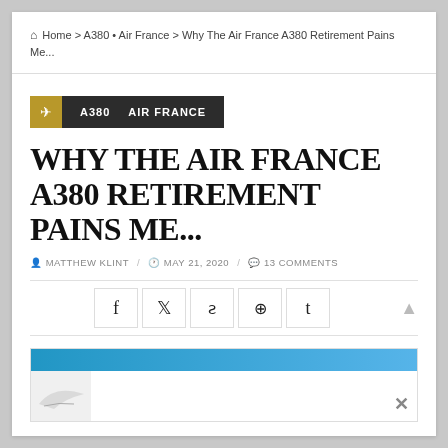Home > A380 • Air France > Why The Air France A380 Retirement Pains Me...
A380   AIR FRANCE
WHY THE AIR FRANCE A380 RETIREMENT PAINS ME...
MATTHEW KLINT / MAY 21, 2020 / 13 COMMENTS
[Figure (infographic): Social share buttons: Facebook, Twitter, StumbleUpon, Reddit, Tumblr with a scroll-to-top arrow]
[Figure (photo): Partially visible advertisement or image with a blue header bar and airplane silhouette, with an X close button]